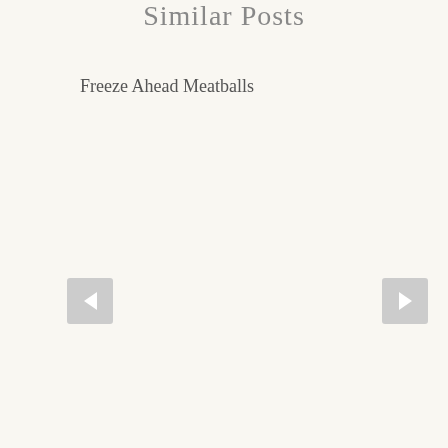Similar Posts
Freeze Ahead Meatballs
[Figure (other): Left navigation arrow button (previous)]
[Figure (other): Right navigation arrow button (next)]